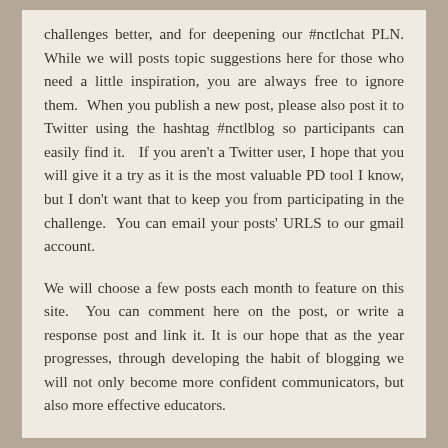challenges better, and for deepening our #nctlchat PLN. While we will posts topic suggestions here for those who need a little inspiration, you are always free to ignore them.  When you publish a new post, please also post it to Twitter using the hashtag #nctlblog so participants can easily find it.   If you aren't a Twitter user, I hope that you will give it a try as it is the most valuable PD tool I know, but I don't want that to keep you from participating in the challenge.  You can email your posts' URLS to our gmail account.
We will choose a few posts each month to feature on this site.  You can comment here on the post, or write a response post and link it. It is our hope that as the year progresses, through developing the habit of blogging we will not only become more confident communicators, but also more effective educators.
Thanks for joining us on this journey!
~Jen.